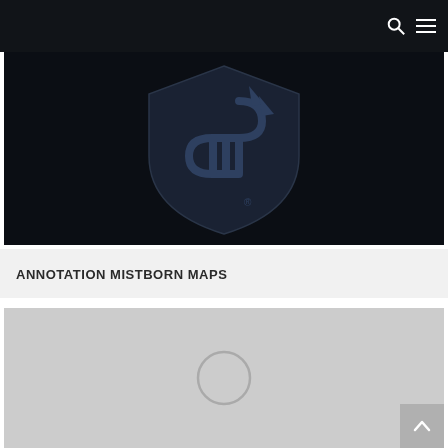[Figure (logo): Dragonsteel / Sanderson logo — stylized S-shaped shield emblem in dark navy blue on black background]
ANNOTATION MISTBORN MAPS
[Figure (photo): Light grey placeholder image with a faint circular play/loading icon in the center, partially visible]